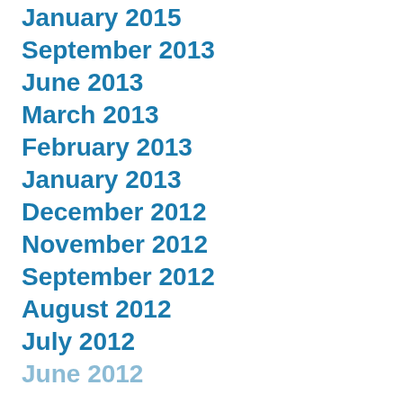January 2015
September 2013
June 2013
March 2013
February 2013
January 2013
December 2012
November 2012
September 2012
August 2012
July 2012
June 2012